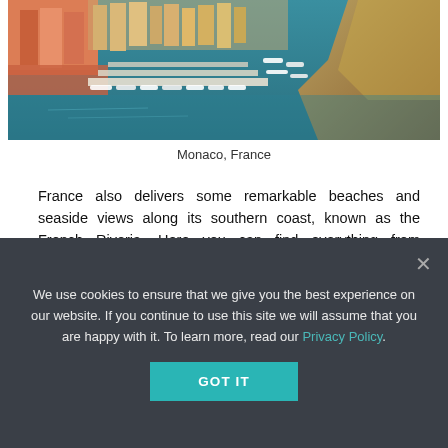[Figure (photo): Aerial view of Monaco harbour/marina with yachts and colorful buildings along the French Riviera coast, rocky cliffs visible on the right.]
Monaco, France
France also delivers some remarkable beaches and seaside views along its southern coast, known as the French Riveria. Here you can find everything from extremely upscale holiday resorts to mom-and-pop shops, with many small seaside towns being connected by walking paths or hiking trails. It's even possible to combine a beach vacation with time in the Alps, in a
We use cookies to ensure that we give you the best experience on our website. If you continue to use this site we will assume that you are happy with it. To learn more, read our Privacy Policy.
GOT IT